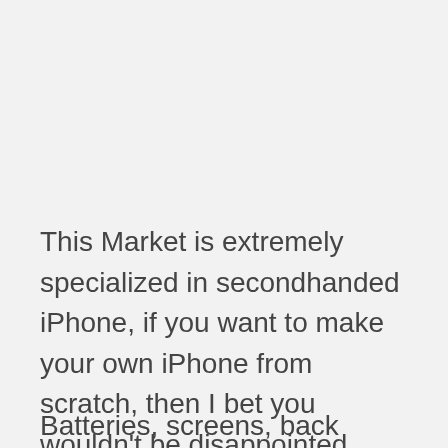This Market is extremely specialized in secondhanded iPhone, if you want to make your own iPhone from scratch, then I bet you wouldn't be disappointed coming to this market.
Batteries, screens, back cameras and middle